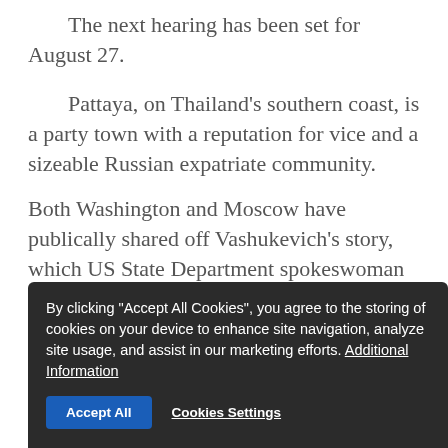The next hearing has been set for August 27.
Pattaya, on Thailand's southern coast, is a party town with a reputation for vice and a sizeable Russian expatriate community.
Both Washington and Moscow have publically shared off Vashukevich's story, which US State Department spokeswoman Heather Nauert described as "bizarre".
[Figure (other): Cookie consent overlay popup with dark background. Text reads: 'By clicking "Accept All Cookies", you agree to the storing of cookies on your device to enhance site navigation, analyze site usage, and assist in our marketing efforts. Additional Information'. Two buttons: 'Accept All' (blue) and 'Cookies Settings' (underlined text).]
also awaiting Vashukevich and Kirillov back in Russia, where Deripaska won an invasion of privacy lawsuit against the duo last month.
They were ordered to pay $8,000 each to